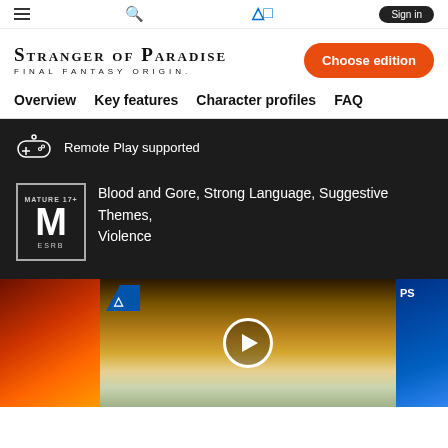Navigation bar with hamburger menu, search icon, PlayStation logo, and sign-in button
[Figure (logo): Stranger of Paradise Final Fantasy Origin game logo text in serif font]
Choose edition
Overview  Key features  Character profiles  FAQ
Remote Play supported
Blood and Gore, Strong Language, Suggestive Themes, Violence
[Figure (screenshot): Media strip showing game thumbnails: a red/fire left thumbnail, a center video thumbnail with golden atmospheric landscape and play button overlaid, and a partial right blue PlayStation thumbnail]